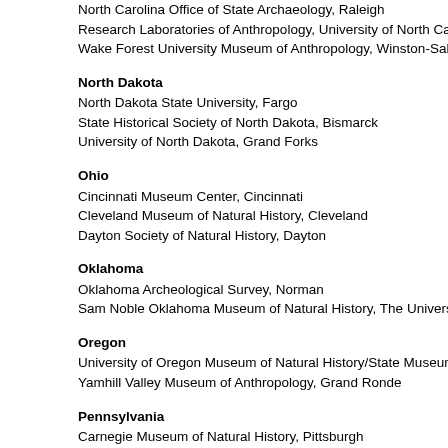North Carolina Office of State Archaeology, Raleigh
Research Laboratories of Anthropology, University of North Carolina, Chapel Hill
Wake Forest University Museum of Anthropology, Winston-Salem
North Dakota
North Dakota State University, Fargo
State Historical Society of North Dakota, Bismarck
University of North Dakota, Grand Forks
Ohio
Cincinnati Museum Center, Cincinnati
Cleveland Museum of Natural History, Cleveland
Dayton Society of Natural History, Dayton
Oklahoma
Oklahoma Archeological Survey, Norman
Sam Noble Oklahoma Museum of Natural History, The University of Oklahoma,
Oregon
University of Oregon Museum of Natural History/State Museum of Anthropology
Yamhill Valley Museum of Anthropology, Grand Ronde
Pennsylvania
Carnegie Museum of Natural History, Pittsburgh
State Museum of Pennsylvania, Harrisburg
Rhode Island
Haffenreffer Museum of Anthropology, Brown University, Providence
Public Archaeology Laboratory, Inc., Pawtucket
South Carolina
South Carolina Institute of Archaeology and Anthropology, University of South Carolina